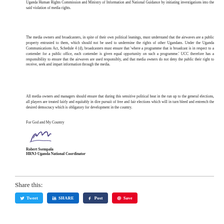Uganda Human Rights Commission and Ministry of Information and National Guidance by initiating investigations into the said violation of media rights.
The media owners and broadcasters, in spite of their own political leanings, must understand that the airwaves are a public property entrusted to them, which should not be used to undermine the rights of other Ugandans. Under the Uganda Communications Act, Schedule 4 (d), broadcasters must ensure that 'where a programme that is broadcast is in respect to a contender for a public office, each contender is given equal opportunity on such a programme.' UCC therefore has a responsibility to ensure that the airwaves are used responsibly, and that media owners do not deny the public their right to receive, seek and impart information through the media.
All media owners and managers should ensure that during this sensitive political heat in the run up to the general elections, all players are treated fairly and equitably in dire pursuit of free and fair elections which will in turn bleed and entrench the desired democracy which is obligatory for development in the country.
For God and My Country
[Figure (illustration): Handwritten signature of Robert Ssempala]
Robert Ssempala
HRNJ-Uganda National Coordinator
Share this:
[Figure (infographic): Social share buttons: Tweet, SHARE, Post, Save]